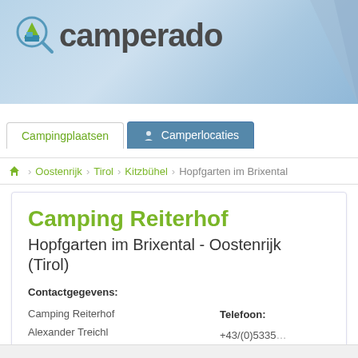[Figure (logo): Camperado logo with magnifying glass icon and text 'camperado']
Campingplaatsen | Camperlocaties
Oostenrijk / Tirol / Kitzbühel / Hopfgarten im Brixental
Camping Reiterhof
Hopfgarten im Brixental - Oostenrijk (Tirol)
Contactgegevens:
Camping Reiterhof
Alexander Treichl
Kelchsauerstraße 49
6361 Hopfgarten im Brixental
Oostenrijk / Tirol
Telefoon: +43/(0)5335...
Fax: +43/(0)5335...
Internet: http://www.ca...
(262 oproep...)